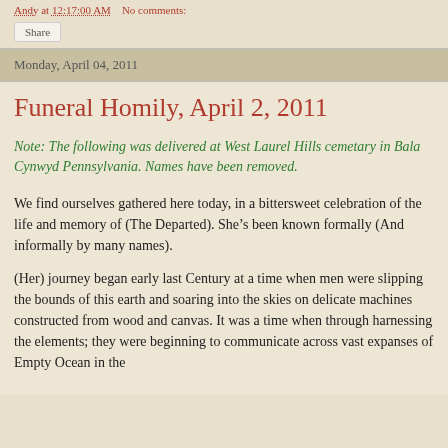Andy at 12:17:00 AM   No comments:
Share
Monday, April 04, 2011
Funeral Homily, April 2, 2011
Note: The following was delivered at West Laurel Hills cemetary in Bala Cynwyd Pennsylvania. Names have been removed.
We find ourselves gathered here today, in a bittersweet celebration of the life and memory of (The Departed). She’s been known formally (And informally by many names).
(Her) journey began early last Century at a time when men were slipping the bounds of this earth and soaring into the skies on delicate machines constructed from wood and canvas. It was a time when through harnessing the elements; they were beginning to communicate across vast expanses of Empty Ocean in the